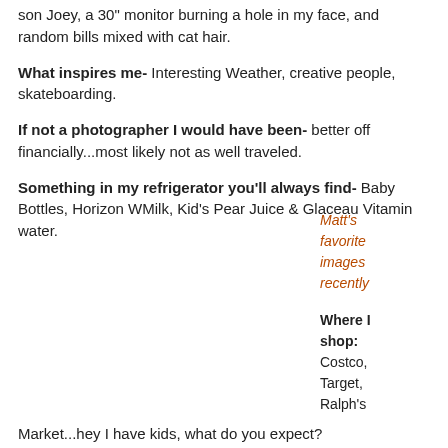son Joey, a 30" monitor burning a hole in my face, and random bills mixed with cat hair.
What inspires me- Interesting Weather, creative people, skateboarding.
If not a photographer I would have been- better off financially...most likely not as well traveled.
Something in my refrigerator you'll always find- Baby Bottles, Horizon Whole Milk, Kid's Pear Juice & Glaceau Vitamin water.
Matt's favorite images recently
Where I shop: Costco, Target, Ralph's Market
Market...hey I have kids, what do you expect?